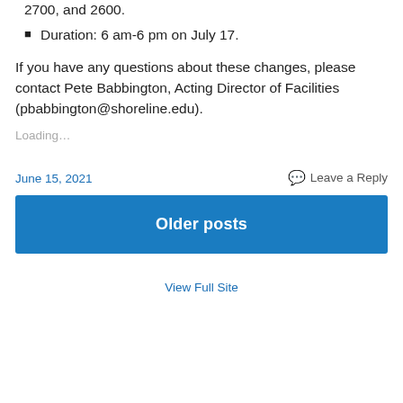2700, and 2600.
Duration: 6 am-6 pm on July 17.
If you have any questions about these changes, please contact Pete Babbington, Acting Director of Facilities (pbabbington@shoreline.edu).
Loading...
June 15, 2021
Leave a Reply
Older posts
View Full Site